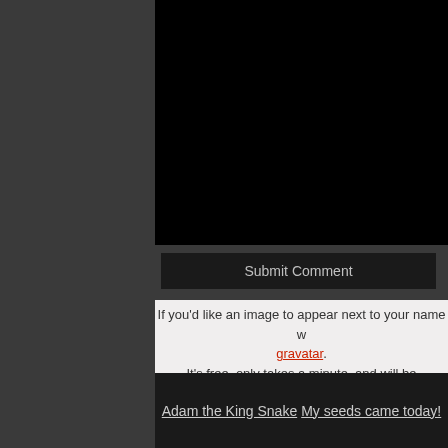[Figure (screenshot): Black rectangular area representing a comment text input field or embed area]
Submit Comment
If you'd like an image to appear next to your name w gravatar. It's free, only takes a minute, and will be recognized enabled. Otherwise, you'll get a "mystery image"
Adam the King Snake  My seeds came today!